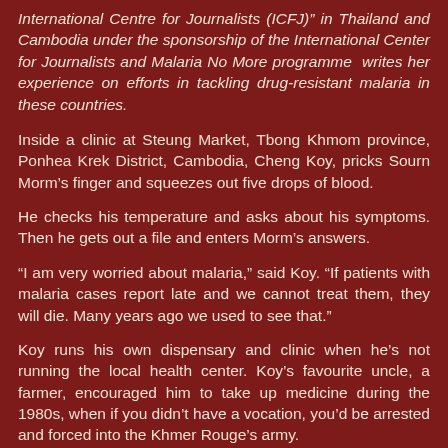International Centre for Journalists (ICFJ)" in Thailand and Cambodia under the sponsorship of the International Center for Journalists and Malaria No More programme  writes her experience on efforts in tackling drug-resistant malaria in these countries.
Inside a clinic at Steung Market, Tbong Khmom province, Ponhea Krek District, Cambodia, Cheng Koy, pricks Sourn Morm's finger and squeezes out five drops of blood.
He checks his temperature and asks about his symptoms. Then he gets out a file and enters Morm's answers.
“I am very worried about malaria,” said Koy. “If patients with malaria cases report late and we cannot treat them, they will die. Many years ago we used to see that.”
Koy runs his own dispensary and clinic when he’s not running the local health center. Koy’s favourite uncle, a farmer, encouraged him to take up medicine during the 1980s, when if you didn’t have a vocation, you’d be arrested and forced into the Khmer Rouge’s army.